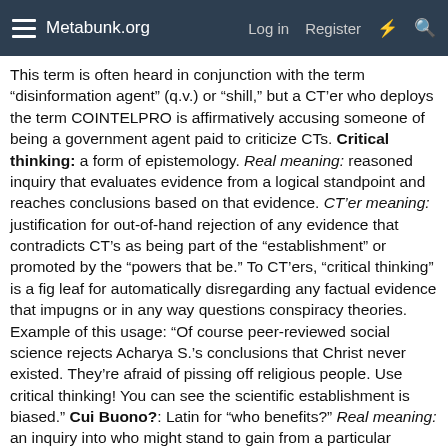Metabunk.org   Log in   Register
This term is often heard in conjunction with the term “disinformation agent” (q.v.) or “shill,” but a CT’er who deploys the term COINTELPRO is affirmatively accusing someone of being a government agent paid to criticize CTs. Critical thinking: a form of epistemology. Real meaning: reasoned inquiry that evaluates evidence from a logical standpoint and reaches conclusions based on that evidence. CT’er meaning: justification for out-of-hand rejection of any evidence that contradicts CT’s as being part of the “establishment” or promoted by the “powers that be.” To CT’ers, “critical thinking” is a fig leaf for automatically disregarding any factual evidence that impugns or in any way questions conspiracy theories. Example of this usage: “Of course peer-reviewed social science rejects Acharya S.’s conclusions that Christ never existed. They’re afraid of pissing off religious people. Use critical thinking! You can see the scientific establishment is biased.” Cui Buono?: Latin for “who benefits?” Real meaning: an inquiry into who might stand to gain from a particular inquiry;